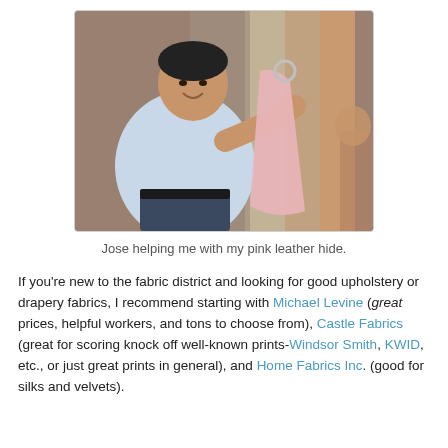[Figure (photo): A man (Jose) smiling and holding up a pink leather hide among hanging fabric swatches in what appears to be a fabric store.]
Jose helping me with my pink leather hide.
If you're new to the fabric district and looking for good upholstery or drapery fabrics, I recommend starting with Michael Levine (great prices, helpful workers, and tons to choose from), Castle Fabrics (great for scoring knock off well-known prints-Windsor Smith, KWID, etc., or just great prints in general), and Home Fabrics Inc. (good for silks and velvets).